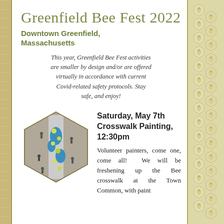Greenfield Bee Fest 2022
Downtown Greenfield, Massachusetts
This year, Greenfield Bee Fest activities are smaller by design and/or are offered virtually in accordance with current Covid-related safety protocols. Stay safe, and enjoy!
[Figure (photo): Aerial view of a bee-themed painted crosswalk mural with people standing around it, seen from above in a hexagonal crop]
Saturday, May 7th
Crosswalk Painting, 12:30pm
Volunteer painters, come one, come all! We will be freshening up the Bee crosswalk at the Town Common, with paint